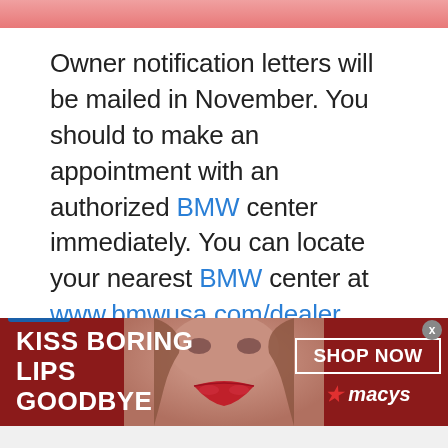[Figure (photo): Top banner with reddish/pink image crop at the top of the page]
Owner notification letters will be mailed in November. You should to make an appointment with an authorized BMW center immediately. You can locate your nearest BMW center at www.bmwusa.com/dealer.
To ensure BMW of North America, LLC has your most recent contact
[Figure (photo): Infolinks advertisement banner: 'KISS BORING LIPS GOODBYE' with a woman's face and red lips, Macy's SHOP NOW button on the right]